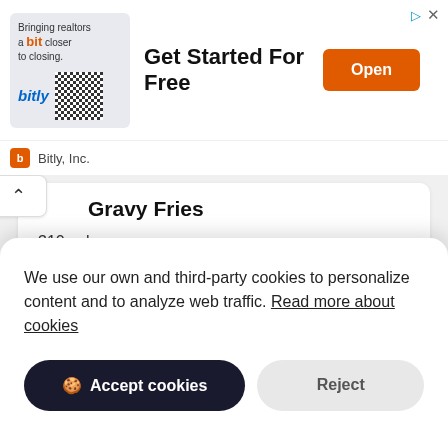[Figure (screenshot): Bitly advertisement banner: 'Bringing realtors a bit closer to closing.' with QR code, headline 'Get Started For Free', orange 'Open' button, and 'Bitly, Inc.' footer with orange icon.]
Gravy Fries
310 cal.
3.29 USD
Gravy Tots
We use our own and third-party cookies to personalize content and to analyze web traffic. Read more about cookies
Accept cookies  Reject